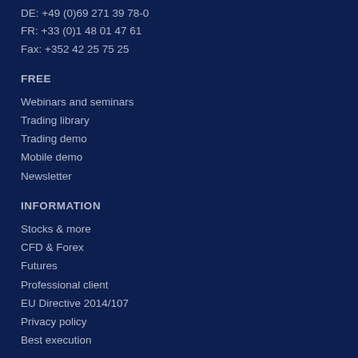DE: +49 (0)69 271 39 78-0
FR: +33 (0)1 48 01 47 61
Fax: +352 42 25 75 25
FREE
Webinars and seminars
Trading library
Trading demo
Mobile demo
Newsletter
INFORMATION
Stocks & more
CFD & Forex
Futures
Professional client
EU Directive 2014/107
Privacy policy
Best execution
SUPPORT
Contact
Chat